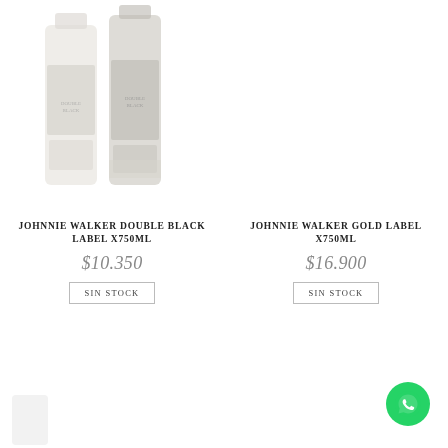[Figure (photo): Two faded Johnnie Walker Double Black Label x750ml bottles side by side]
JOHNNIE WALKER DOUBLE BLACK LABEL X750ML
$10.350
SIN STOCK
[Figure (photo): Empty product image area for Johnnie Walker Gold Label x750ml]
JOHNNIE WALKER GOLD LABEL X750ML
$16.900
SIN STOCK
[Figure (photo): WhatsApp contact button (green circle with phone icon)]